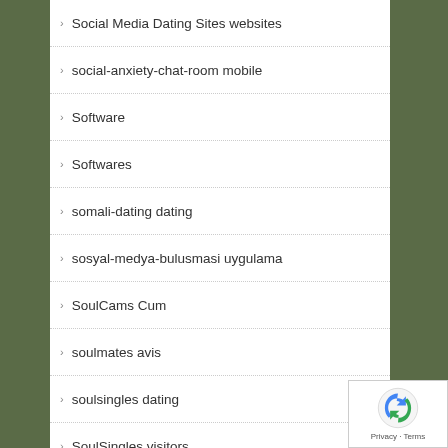Social Media Dating Sites websites
social-anxiety-chat-room mobile
Software
Softwares
somali-dating dating
sosyal-medya-bulusmasi uygulama
SoulCams Cum
soulmates avis
soulsingles dating
SoulSingles visitors
South Dakota Bad Credit Loans Near Me
south-bend escort services
south-carolina-dating review
spain-chat-rooms sign in
Spanish Dating Sites adult
Spanish Dating Sites visitors